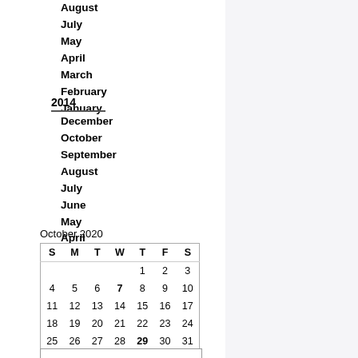August
July
May
April
March
February
January
2014
December
October
September
August
July
June
May
April
[Figure (other): October 2020 calendar widget showing a month view with days S M T W T F S, dates 1-31]
[Figure (other): Search input box with a Search button below it]